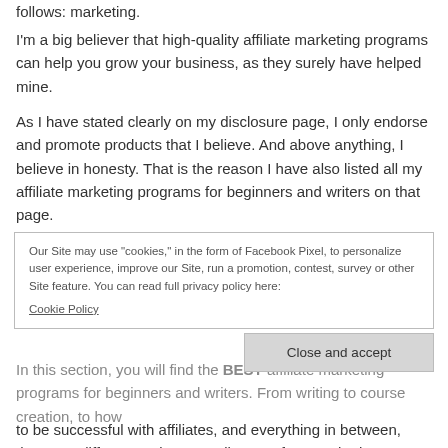follows: marketing.
I'm a big believer that high-quality affiliate marketing programs can help you grow your business, as they surely have helped mine.
As I have stated clearly on my disclosure page, I only endorse and promote products that I believe. And above anything, I believe in honesty. That is the reason I have also listed all my affiliate marketing programs for beginners and writers on that page.
Our Site may use "cookies," in the form of Facebook Pixel, to personalize user experience, improve our Site, run a promotion, contest, survey or other Site feature. You can read full privacy policy here:
That also made way for a new thought: why not make it easy for people to find those things that (could make) a difference in my business?
Cookie Policy
Close and accept
In this section, you will find the BEST affiliate marketing programs for beginners and writers. From writing to course creation, to how
to be successful with affiliates, and everything in between, there are different options to strike your fancy. Whether you are looking